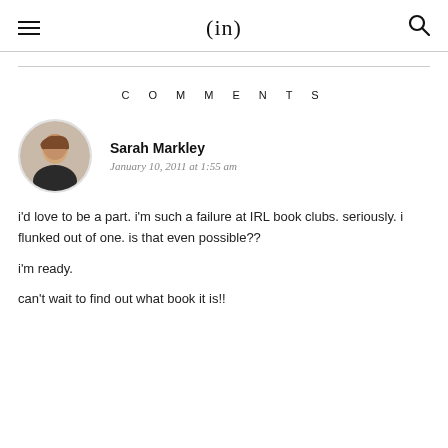(in)
COMMENTS
Sarah Markley
January 10, 2011 at 1:55 am
i'd love to be a part. i'm such a failure at IRL book clubs. seriously. i flunked out of one. is that even possible??

i'm ready.

can't wait to find out what book it is!!